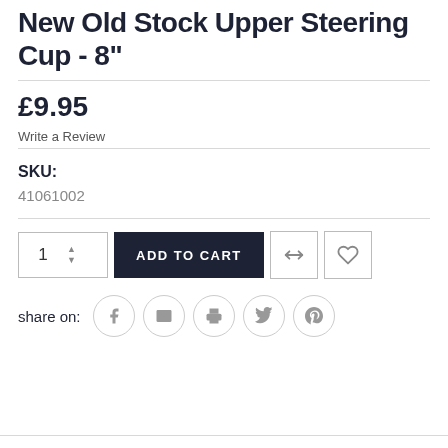New Old Stock Upper Steering Cup - 8"
£9.95
Write a Review
SKU:
41061002
[Figure (other): Add to cart UI: quantity selector showing 1 with up/down arrows, dark ADD TO CART button, compare icon button, wishlist heart icon button]
share on: [facebook] [email] [print] [twitter] [pinterest]